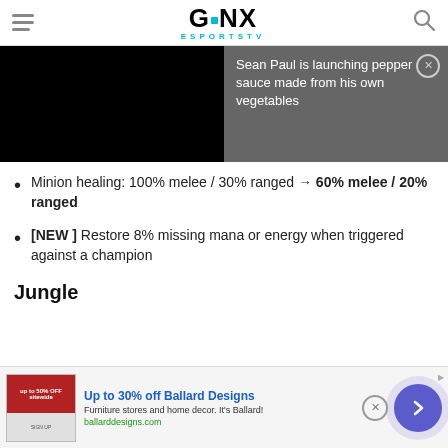GINX ESPORTSTV
[Figure (screenshot): Left half: black video player area. Right half: dark grey background with white text 'Sean Paul is launching pepper sauce made from his own vegetables' and a close button.]
Minion healing: 100% melee / 30% ranged → 60% melee / 20% ranged
[NEW ] Restore 8% missing mana or energy when triggered against a champion
Jungle
[Figure (screenshot): Bottom advertisement banner: Ballard Designs ad with image, title 'Up to 30% off Ballard Designs', description 'Furniture stores and home decor. It's Ballard!', URL 'ballarddesigns.com', close button, and purple arrow button.]